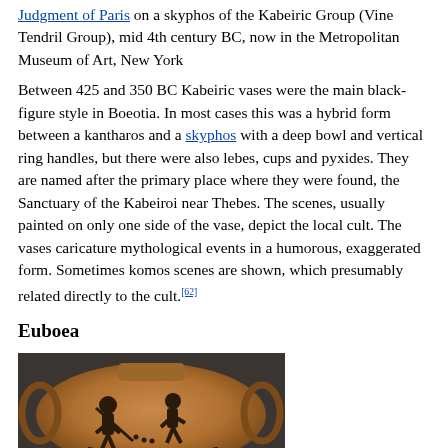Judgment of Paris on a skyphos of the Kabeiric Group (Vine Tendril Group), mid 4th century BC, now in the Metropolitan Museum of Art, New York
Between 425 and 350 BC Kabeiric vases were the main black-figure style in Boeotia. In most cases this was a hybrid form between a kantharos and a skyphos with a deep bowl and vertical ring handles, but there were also lebes, cups and pyxides. They are named after the primary place where they were found, the Sanctuary of the Kabeiroi near Thebes. The scenes, usually painted on only one side of the vase, depict the local cult. The vases caricature mythological events in a humorous, exaggerated form. Sometimes komos scenes are shown, which presumably related directly to the cult.[62]
Euboea
[Figure (photo): Photograph of an ancient Greek black-figure vase (amphora) with painted figures of mythological scenes, showing dark silhouetted figures against a terracotta background.]